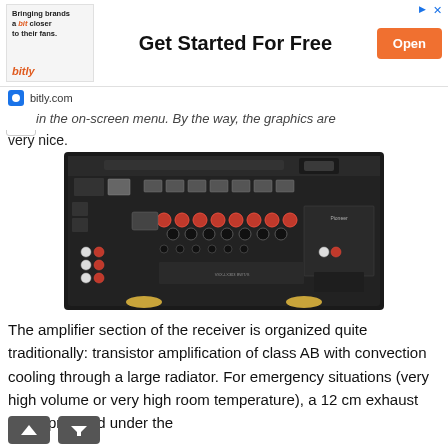[Figure (screenshot): Advertisement banner from Bitly: logo area on left, 'Get Started For Free' bold text in center, orange 'Open' button on right, 'bitly.com' URL bar below]
in the on-screen menu. By the way, the graphics are very nice.
[Figure (photo): Rear panel of a Pioneer AV receiver showing speaker terminals (red/black binding posts), HDMI ports, analog audio/video inputs, network port, USB port, and various other connections on a black chassis with gold feet.]
The amplifier section of the receiver is organized quite traditionally: transistor amplification of class AB with convection cooling through a large radiator. For emergency situations (very high volume or very high room temperature), a 12 cm exhaust fan is provided under the